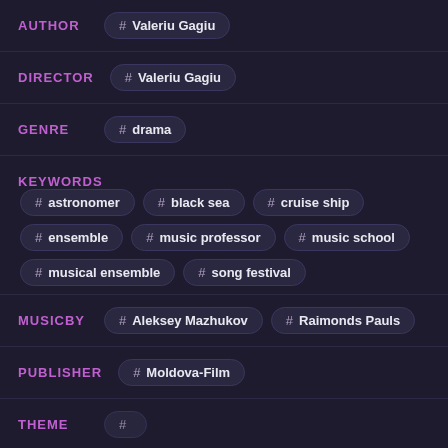AUTHOR  # Valeriu Gagiu
DIRECTOR  # Valeriu Gagiu
GENRE  # drama
KEYWORDS  # astronomer  # black sea  # cruise ship  # ensemble  # music professor  # music school  # musical ensemble  # song festival
MUSICBY  # Aleksey Mazhukov  # Raimonds Pauls
PUBLISHER  # Moldova-Film
THEME